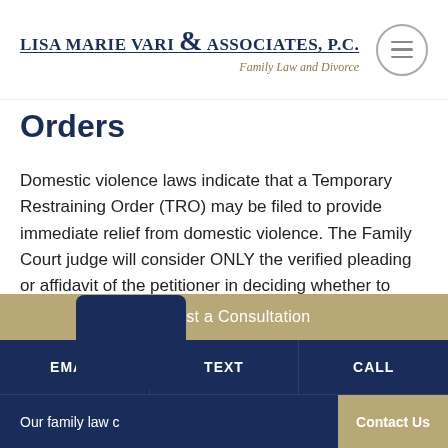LISA MARIE VARI & ASSOCIATES, P.C. — Family Law and Divorce
Orders
Domestic violence laws indicate that a Temporary Restraining Order (TRO) may be filed to provide immediate relief from domestic violence. The Family Court judge will consider ONLY the verified pleading or affidavit of the petitioner in deciding whether to grant a ... the Temporary Restraining Order is granted, the
Request a Consultation
EMAIL   TEXT   CALL
Our family law c   Contact Us